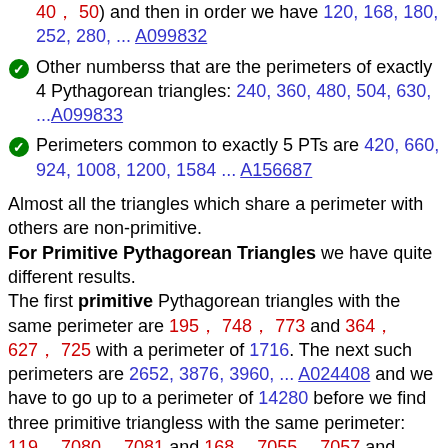40, 50) and then in order we have 120, 168, 180, 252, 280, ... A099832
Other numberss that are the perimeters of exactly 4 Pythagorean triangles: 240, 360, 480, 504, 630, ...A099833
Perimeters common to exactly 5 PTs are 420, 660, 924, 1008, 1200, 1584 ... A156687
Almost all the triangles which share a perimeter with others are non-primitive. For Primitive Pythagorean Triangles we have quite different results. The first primitive Pythagorean triangles with the same perimeter are 195, 748, 773 and 364, 627, 725 with a perimeter of 1716. The next such perimeters are 2652, 3876, 3960, ... A024408 and we have to go up to a perimeter of 14280 before we find three primitive triangless with the same perimeter: 119, 7080, 7081 and 168, 7055, 7057 and 3255, 5032, 5993. with